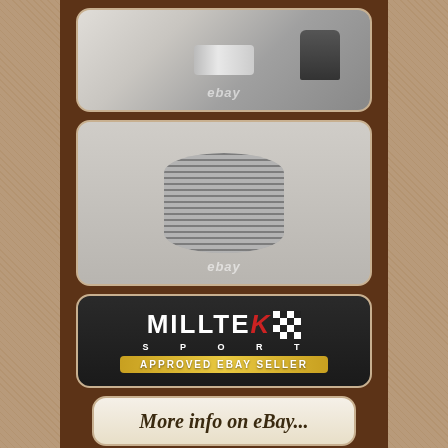[Figure (photo): Close-up photo of exhaust pipe joint/connector with black rubber component, watermarked with 'ebay']
[Figure (photo): Close-up photo of a braided/mesh flexible exhaust joint (flex pipe) on a stainless steel exhaust system, watermarked with 'ebay']
[Figure (logo): Milltek Sport Approved eBay Seller logo badge on dark carbon fibre background]
More info on eBay...